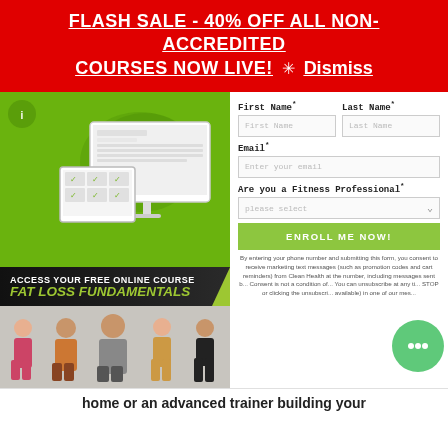FLASH SALE - 40% OFF ALL NON-ACCREDITED COURSES NOW LIVE! ✳ Dismiss
[Figure (illustration): Promotional image for free online course 'Fat Loss Fundamentals' showing a computer monitor and tablet displaying the course, with a green background. Below the devices is a dark banner reading 'ACCESS YOUR FREE ONLINE COURSE / FAT LOSS FUNDAMENTALS', and below that is a row of people before/after fitness transformation photos.]
First Name*
Last Name*
Email*
Are you a Fitness Professional*
ENROLL ME NOW!
By entering your phone number and submitting this form, you consent to receive marketing text messages (such as promotion codes and cart reminders) from Clean Health at the number, including messages sent b... Consent is not a condition o... You can unsubscribe at any ti... STOP or clicking the unsubscri... available) in one of our mes...
home or an advanced trainer building your